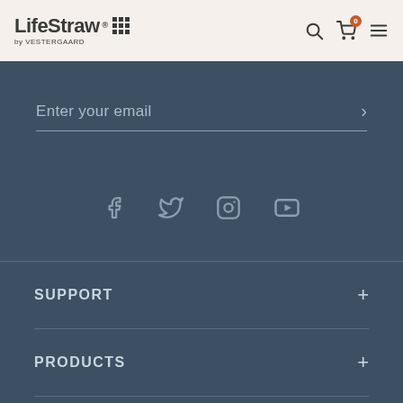LifeStraw® by VESTERGAARD
Enter your email
[Figure (infographic): Social media icons: Facebook, Twitter, Instagram, YouTube]
SUPPORT +
PRODUCTS +
ABOUT +